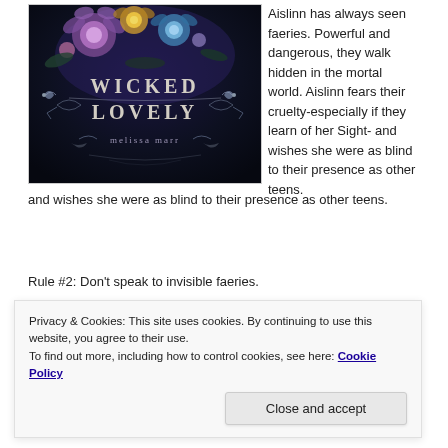[Figure (photo): Book cover of 'Wicked Lovely' by Melissa Marr. Dark background with colorful floral arrangement at the top, ornate decorative text reading 'WICKED LOVELY' in the center, and author name 'melissa marr' below.]
Aislinn has always seen faeries. Powerful and dangerous, they walk hidden in the mortal world. Aislinn fears their cruelty-especially if they learn of her Sight- and wishes she were as blind to their presence as other teens.
Rule #2: Don't speak to invisible faeries.
Privacy & Cookies: This site uses cookies. By continuing to use this website, you agree to their use.
To find out more, including how to control cookies, see here: Cookie Policy
Close and accept